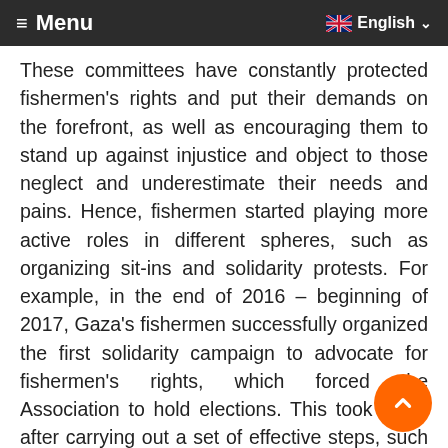≡ Menu | English
These committees have constantly protected fishermen's rights and put their demands on the forefront, as well as encouraging them to stand up against injustice and object to those neglect and underestimate their needs and pains. Hence, fishermen started playing more active roles in different spheres, such as organizing sit-ins and solidarity protests. For example, in the end of 2016 – beginning of 2017, Gaza's fishermen successfully organized the first solidarity campaign to advocate for fishermen's rights, which forced the Association to hold elections. This took place after carrying out a set of effective steps, such as collecting the signatures of nearly 1,700 fishermen in petition that urged governmental and legal